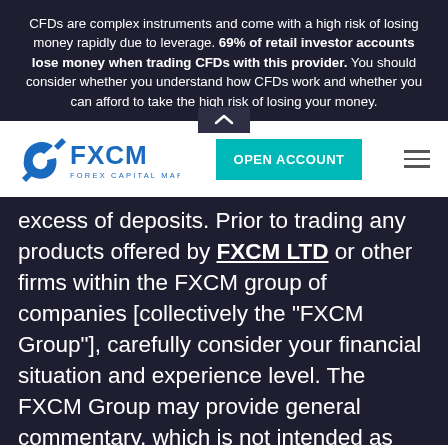CFDs are complex instruments and come with a high risk of losing money rapidly due to leverage. 69% of retail investor accounts lose money when trading CFDs with this provider. You should consider whether you understand how CFDs work and whether you can afford to take the high risk of losing your money.
[Figure (logo): FXCM Forex Capital Markets logo in blue, with an Open Account teal button and hamburger menu icon]
excess of deposits. Prior to trading any products offered by FXCM LTD or other firms within the FXCM group of companies [collectively the "FXCM Group"], carefully consider your financial situation and experience level. The FXCM Group may provide general commentary, which is not intended as investment advice and must not be construed as such. Seek advice from a separate financial advisor. The FXCM Group assumes no liability for errors, inaccuracies or omissions; does not warrant the